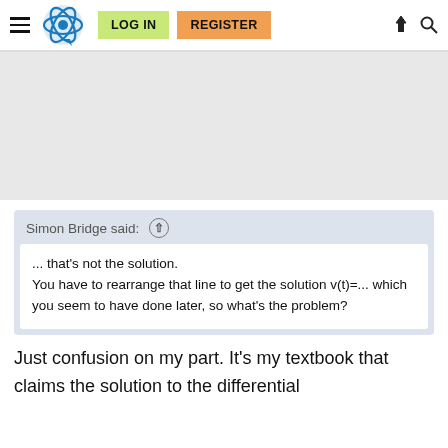LOG IN  REGISTER
[Figure (screenshot): Gray advertisement/banner area]
Simon Bridge said: ↑
... that's not the solution.
You have to rearrange that line to get the solution v(t)=... which you seem to have done later, so what's the problem?
Just confusion on my part. It's my textbook that claims the solution to the differential